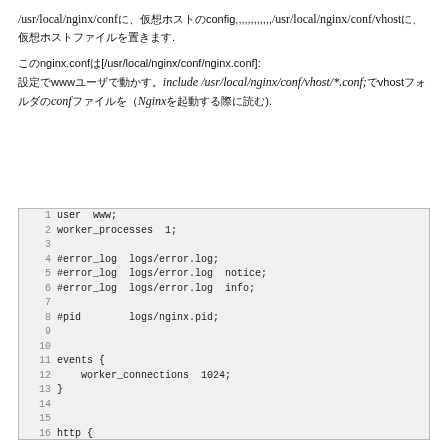/usr/local/nginx/confに、仮想ホストのconfig,,,,,,,,,,,/usr/local/nginx/conf/vhostに、仮想ホストファイルを置きます.
このnginx.confは[/usr/local/nginx/conf/nginx.conf]: 設定でwwwユーザで動かす。include /usr/local/nginx/conf/vhost/*.conf;でvhostフォルダのconfファイルを（Nginxを起動する際に読む).
[Figure (screenshot): Code block showing nginx configuration file content with line numbers 1-20, displaying user www, worker_processes 1, error_log comments, pid, events block with worker_connections 1024, and http block with include mime.types and default_type application/octet-stream.]